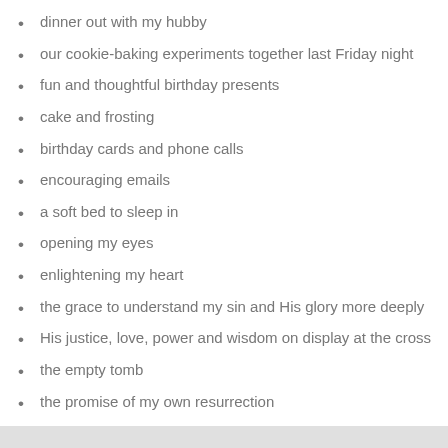dinner out with my hubby
our cookie-baking experiments together last Friday night
fun and thoughtful birthday presents
cake and frosting
birthday cards and phone calls
encouraging emails
a soft bed to sleep in
opening my eyes
enlightening my heart
the grace to understand my sin and His glory more deeply
His justice, love, power and wisdom on display at the cross
the empty tomb
the promise of my own resurrection